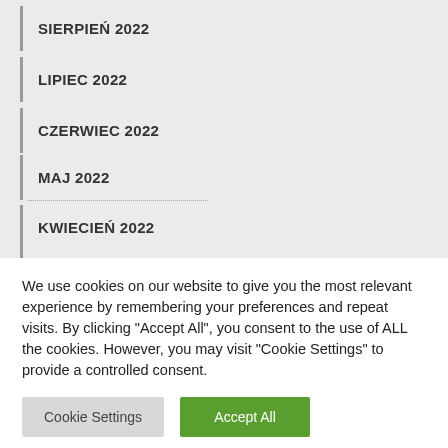SIERPIEŃ 2022
LIPIEC 2022
CZERWIEC 2022
MAJ 2022
KWIECIEŃ 2022
We use cookies on our website to give you the most relevant experience by remembering your preferences and repeat visits. By clicking "Accept All", you consent to the use of ALL the cookies. However, you may visit "Cookie Settings" to provide a controlled consent.
Cookie Settings | Accept All